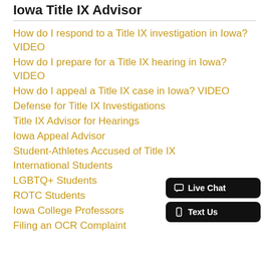Iowa Title IX Advisor
How do I respond to a Title IX investigation in Iowa? VIDEO
How do I prepare for a Title IX hearing in Iowa? VIDEO
How do I appeal a Title IX case in Iowa? VIDEO
Defense for Title IX Investigations
Title IX Advisor for Hearings
Iowa Appeal Advisor
Student-Athletes Accused of Title IX
International Students
LGBTQ+ Students
ROTC Students
Iowa College Professors
Filing an OCR Complaint
[Figure (other): Live Chat and Text Us buttons widget in bottom right corner]